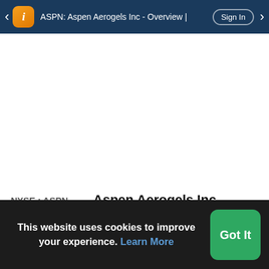ASPN: Aspen Aerogels Inc - Overview | Sign In
NYSE : ASPN
Aspen Aerogels Inc
Last Price	Today's Change	Day's Range
This website uses cookies to improve your experience. Learn More